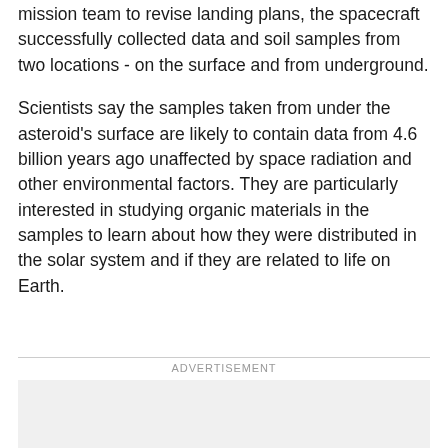mission team to revise landing plans, the spacecraft successfully collected data and soil samples from two locations - on the surface and from underground.
Scientists say the samples taken from under the asteroid’s surface are likely to contain data from 4.6 billion years ago unaffected by space radiation and other environmental factors. They are particularly interested in studying organic materials in the samples to learn about how they were distributed in the solar system and if they are related to life on Earth.
ADVERTISEMENT